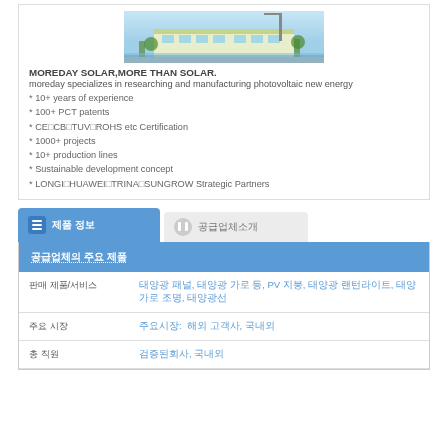[Figure (photo): Exterior photo of a factory/office building with water in foreground]
MOREDAY SOLAR,MORE THAN SOLAR.
moreday specializes in researching and manufacturing photovoltaic new energy
* 10+ years of experience
* 100+ PCT patents
* CE□CB□TUV□ROHS etc Certification
* 1000+ projects
* 10+ production lines
* Sustainable development concept
* LONGI□HUAWEI□TRINA□SUNGROW Strategic Partners
제품 정보 (tab active)
공급업체소개 (tab inactive)
공급업체의 주요 제품
|  |  |
| --- | --- |
| 판매 제품/서비스 | 태양광 패널, 태양광 가로 등, PV 지붕, 태양광 랜턴라이트, 태양 가로 조명, 태양광선 |
| 주요 시장 | 주요시장:  해외 고객사, 국내외 |
| 총 직원 | 검증된회사, 국내외 |